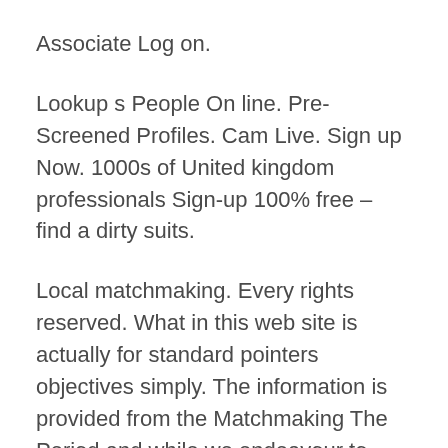Associate Log on.
Lookup s People On line. Pre-Screened Profiles. Cam Live. Sign up Now. 1000s of United kingdom professionals Sign-up 100% free – find a dirty suits.
Local matchmaking. Every rights reserved. What in this web site is actually for standard pointers objectives simply. The information is provided from the Matchmaking The Period and while we endeavour to keep everything up to date and you will correct, we create no representations otherwise guarantees of any sort, display otherwise implied, in regards to the completeness, accuracy, accuracy, viability otherwise availability